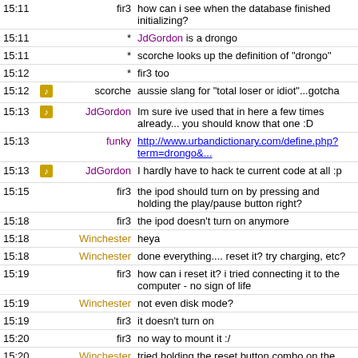| Time | Icon | User | Message |
| --- | --- | --- | --- |
| 15:11 |  | fir3 | how can i see when the database finished initializing? |
| 15:11 |  | * JdGordon | is a drongo |
| 15:11 |  | * scorche | looks up the definition of "drongo" |
| 15:12 |  | * fir3 | too |
| 15:12 | icon | scorche | aussie slang for "total loser or idiot"...gotcha |
| 15:13 | icon | JdGordon | Im sure ive used that in here a few times already... you should know that one :D |
| 15:13 |  | funky | http://www.urbandictionary.com/define.php?term=drongo&... |
| 15:13 | icon | JdGordon | I hardly have to hack te current code at all :p |
| 15:15 |  | fir3 | the ipod should turn on by pressing and holding the play/pause button right? |
| 15:18 |  | fir3 | the ipod doesn't turn on anymore |
| 15:18 |  | Winchester | heya |
| 15:18 |  | Winchester | done everything.... reset it? try charging, etc? |
| 15:19 |  | fir3 | how can i reset it? i tried connecting it to the computer - no sign of life |
| 15:19 |  | Winchester | not even disk mode? |
| 15:19 |  | fir3 | it doesn't turn on |
| 15:20 |  | fir3 | no way to mount it :/ |
| 15:20 |  | Winchester | tried holding the reset button combo on the ipod? |
| 15:20 |  | Winchester | and how old is the ipod? |
| 15:20 |  | fir3 | brand new :) |
| 15:21 |  | Winchester | well.... hold menu and middle button for a while (make sure hold is off)..... that might just do something.... but probably |